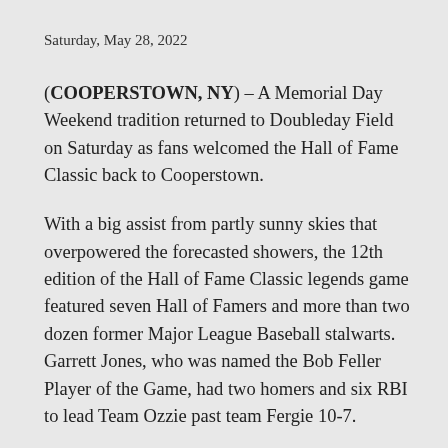Saturday, May 28, 2022
(COOPERSTOWN, NY) – A Memorial Day Weekend tradition returned to Doubleday Field on Saturday as fans welcomed the Hall of Fame Classic back to Cooperstown.
With a big assist from partly sunny skies that overpowered the forecasted showers, the 12th edition of the Hall of Fame Classic legends game featured seven Hall of Famers and more than two dozen former Major League Baseball stalwarts. Garrett Jones, who was named the Bob Feller Player of the Game, had two homers and six RBI to lead Team Ozzie past team Fergie 10-7.